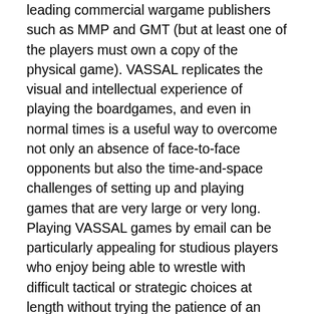leading commercial wargame publishers such as MMP and GMT (but at least one of the players must own a copy of the physical game). VASSAL replicates the visual and intellectual experience of playing the boardgames, and even in normal times is a useful way to overcome not only an absence of face-to-face opponents but also the time-and-space challenges of setting up and playing games that are very large or very long. Playing VASSAL games by email can be particularly appealing for studious players who enjoy being able to wrestle with difficult tactical or strategic choices at length without trying the patience of an opponent across the table. (Karl P. Mueller, Political Scientist, RAND Corporation)
Tabletop Simulator (Berserk Games, 2015) – This does exactly what it advertises. Available on gaming platforms like Steam, Tabletop Simulator (TTS) gives you the tools